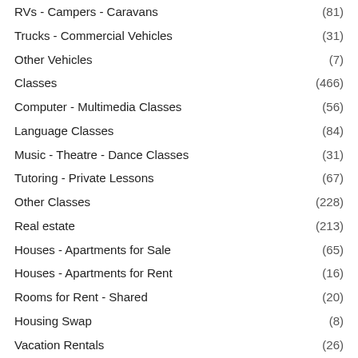RVs - Campers - Caravans (81)
Trucks - Commercial Vehicles (31)
Other Vehicles (7)
Classes (466)
Computer - Multimedia Classes (56)
Language Classes (84)
Music - Theatre - Dance Classes (31)
Tutoring - Private Lessons (67)
Other Classes (228)
Real estate (213)
Houses - Apartments for Sale (65)
Houses - Apartments for Rent (16)
Rooms for Rent - Shared (20)
Housing Swap (8)
Vacation Rentals (26)
Parking Spots (4)
Land (32)